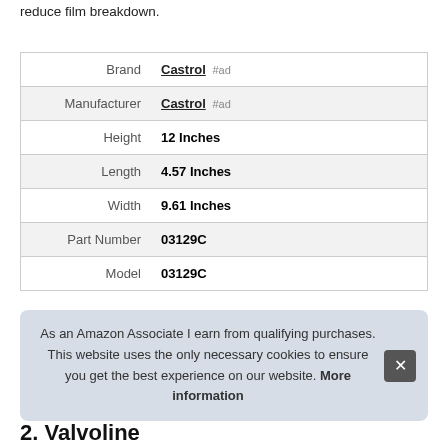reduce film breakdown.
| Brand | Castrol #ad |
| Manufacturer | Castrol #ad |
| Height | 12 Inches |
| Length | 4.57 Inches |
| Width | 9.61 Inches |
| Part Number | 03129C |
| Model | 03129C |
As an Amazon Associate I earn from qualifying purchases. This website uses the only necessary cookies to ensure you get the best experience on our website. More information
2. Valvoline